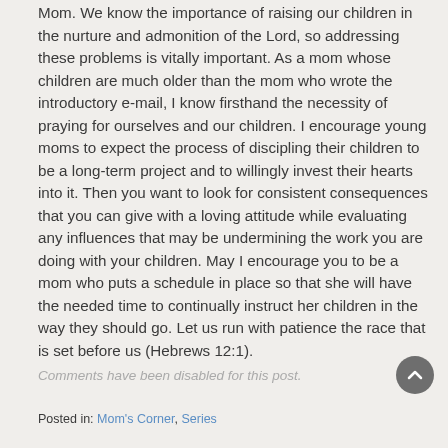Mom. We know the importance of raising our children in the nurture and admonition of the Lord, so addressing these problems is vitally important. As a mom whose children are much older than the mom who wrote the introductory e-mail, I know firsthand the necessity of praying for ourselves and our children. I encourage young moms to expect the process of discipling their children to be a long-term project and to willingly invest their hearts into it. Then you want to look for consistent consequences that you can give with a loving attitude while evaluating any influences that may be undermining the work you are doing with your children. May I encourage you to be a mom who puts a schedule in place so that she will have the needed time to continually instruct her children in the way they should go. Let us run with patience the race that is set before us (Hebrews 12:1).
Comments have been disabled for this post.
Posted in: Mom's Corner, Series